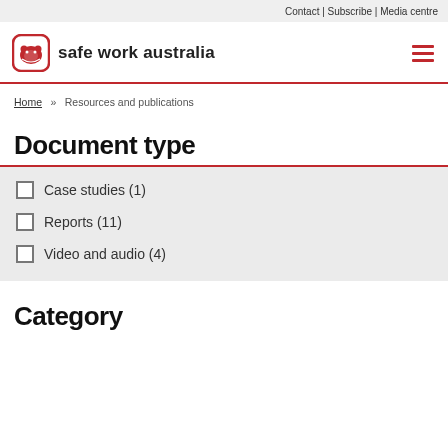Contact | Subscribe | Media centre
[Figure (logo): Safe Work Australia logo — red wombat icon in rounded square border, text 'safe work australia' in bold black]
Home » Resources and publications
Document type
Case studies (1)
Reports (11)
Video and audio (4)
Category